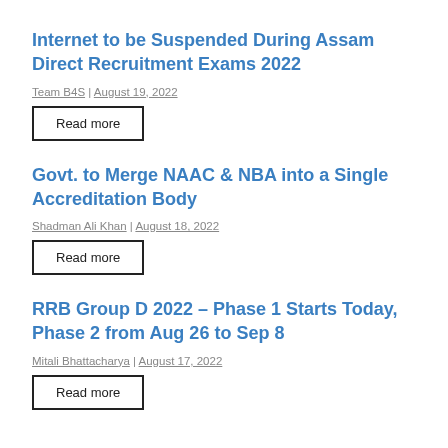Internet to be Suspended During Assam Direct Recruitment Exams 2022
Team B4S  |  August 19, 2022
Read more
Govt. to Merge NAAC & NBA into a Single Accreditation Body
Shadman Ali Khan  |  August 18, 2022
Read more
RRB Group D 2022 – Phase 1 Starts Today, Phase 2 from Aug 26 to Sep 8
Mitali Bhattacharya  |  August 17, 2022
Read more